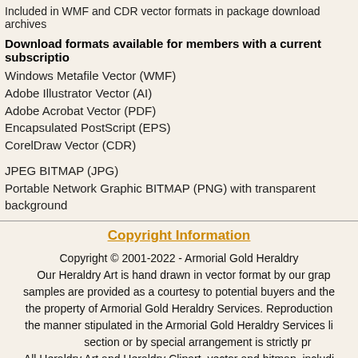Included in WMF and CDR vector formats in package download archives
Download formats available for members with a current subscription
Windows Metafile Vector (WMF)
Adobe Illustrator Vector (AI)
Adobe Acrobat Vector (PDF)
Encapsulated PostScript (EPS)
CorelDraw Vector (CDR)
JPEG BITMAP (JPG)
Portable Network Graphic BITMAP (PNG) with transparent background
Copyright Information
Copyright © 2001-2022 - Armorial Gold Heraldry. Our Heraldry Art is hand drawn in vector format by our graphic artists. samples are provided as a courtesy to potential buyers and the property of Armorial Gold Heraldry Services. Reproduction in the manner stipulated in the Armorial Gold Heraldry Services license section or by special arrangement is strictly prohibited. All Heraldry Art and Heraldry Clipart, vector and bitmap, including Clip-art, Saints Clipart, Italian Coat of Arms Images, Birds of Prey Alphabets clipart, Spanish Coat of Arms images, English arms images, Irish coat of arms images, Das Wapen German Coat of Arms images, French Coat of Arms Images, Swedish Costs of Arms images.